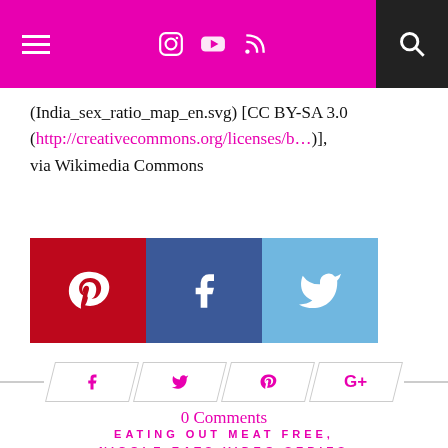Navigation bar with menu, social icons, and search
(India_sex_ratio_map_en.svg) [CC BY-SA 3.0 (http://creativecommons.org/licenses/b…)], via Wikimedia Commons
[Figure (other): Social share buttons: Pinterest (red), Facebook (dark blue), Twitter (light blue)]
[Figure (other): Secondary social share row with parallelogram-shaped buttons for Facebook, Twitter, Pinterest, Google+]
0 Comments
EATING OUT MEAT FREE, NICOLE EATS VIDEO SERIES